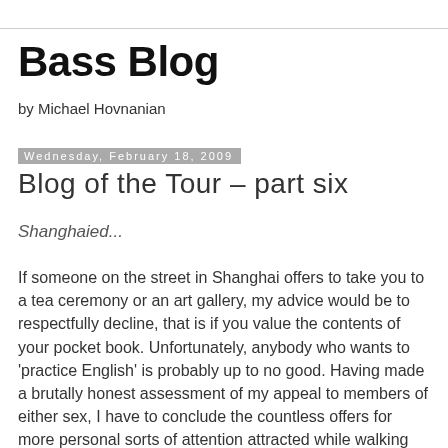Bass Blog
by Michael Hovnanian
Wednesday, February 18, 2009
Blog of the Tour – part six
Shanghaied...
If someone on the street in Shanghai offers to take you to a tea ceremony or an art gallery, my advice would be to respectfully decline, that is if you value the contents of your pocket book. Unfortunately, anybody who wants to 'practice English' is probably up to no good. Having made a brutally honest assessment of my appeal to members of either sex, I have to conclude the countless offers for more personal sorts of attention attracted while walking alone were nefarious as well.